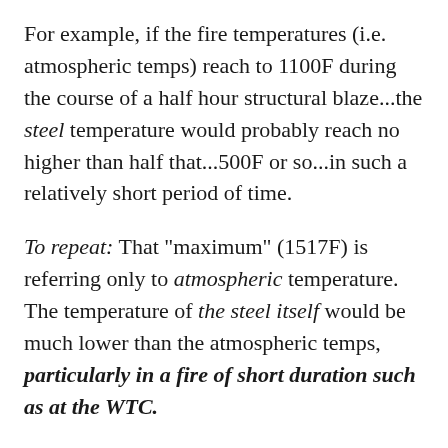For example, if the fire temperatures (i.e. atmospheric temps) reach to 1100F during the course of a half hour structural blaze...the steel temperature would probably reach no higher than half that...500F or so...in such a relatively short period of time.
To repeat: That "maximum" (1517F) is referring only to atmospheric temperature. The temperature of the steel itself would be much lower than the atmospheric temps, particularly in a fire of short duration such as at the WTC.
Why is this? Because steel has considerable capacity for heat conductivity. Heat travels through the steel, spreading thinly and diluting in the process.